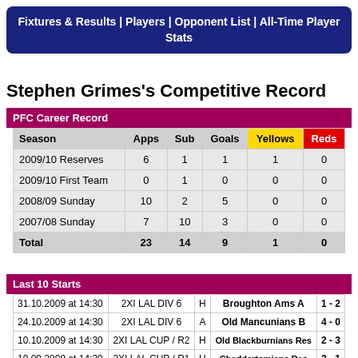Fixtures & Results | Players | Opponent List | All-Time Player Stats
Stephen Grimes's Competitive Record
| Season | Apps | Sub | Goals | Yellows | Reds |
| --- | --- | --- | --- | --- | --- |
| 2009/10 Reserves | 6 | 1 | 1 | 1 | 0 |
| 2009/10 First Team | 0 | 1 | 0 | 0 | 0 |
| 2008/09 Sunday | 10 | 2 | 5 | 0 | 0 |
| 2007/08 Sunday | 7 | 10 | 3 | 0 | 0 |
| Total | 23 | 14 | 9 | 1 | 0 |
| Date | Competition | H/A | Opponent | Score |
| --- | --- | --- | --- | --- |
| 31.10.2009 at 14:30 | 2XI LAL DIV 6 | H | Broughton Ams A | 1 - 2 |
| 24.10.2009 at 14:30 | 2XI LAL DIV 6 | A | Old Mancunians B | 4 - 0 |
| 10.10.2009 at 14:30 | 2XI LAL CUP / R2 | H | Old Blackburnians Res | 2 - 3 |
| 19.09.2009 at 14:30 | 2XI LAL CUP / R1 | H | Chaddertomians Res | 2 - 1 |